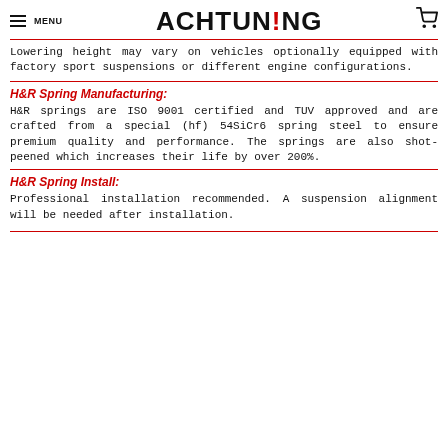MENU | ACHTUNING
Lowering height may vary on vehicles optionally equipped with factory sport suspensions or different engine configurations.
H&R Spring Manufacturing:
H&R springs are ISO 9001 certified and TUV approved and are crafted from a special (hf) 54SiCr6 spring steel to ensure premium quality and performance. The springs are also shot-peened which increases their life by over 200%.
H&R Spring Install:
Professional installation recommended. A suspension alignment will be needed after installation.